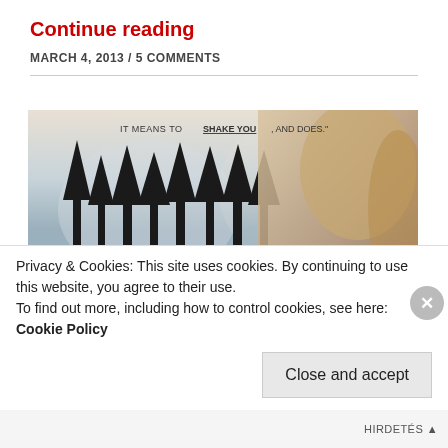Continue reading
MARCH 4, 2013 / 5 COMMENTS
[Figure (photo): Movie poster for Winter's Bone featuring a young woman against a winter forest background with text: IT MEANS TO SHAKE YOU, AND DOES. WINTER'S [BONE]]
Privacy & Cookies: This site uses cookies. By continuing to use this website, you agree to their use. To find out more, including how to control cookies, see here: Cookie Policy
Close and accept